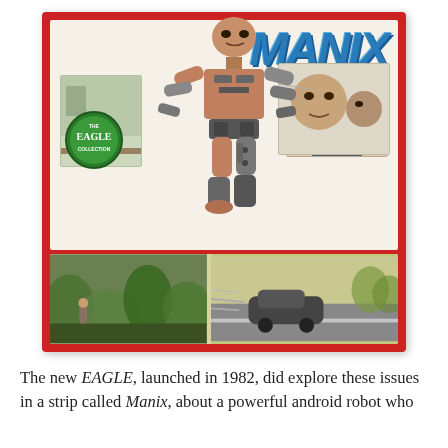[Figure (illustration): Comic book cover for 'MANIX' from The Eagle Collection. Features a muscular android robot figure in the center with mechanical legs and robotic body, running forward. Red border framing. Top banner shows 'MANIX' in large blue italic letters. Bottom left shows 'THE EAGLE COLLECTION' badge in green. Multiple inset panels show action scenes with characters. Bottom strip shows landscape/action scenes.]
The new EAGLE, launched in 1982, did explore these issues in a strip called Manix, about a powerful android robot who